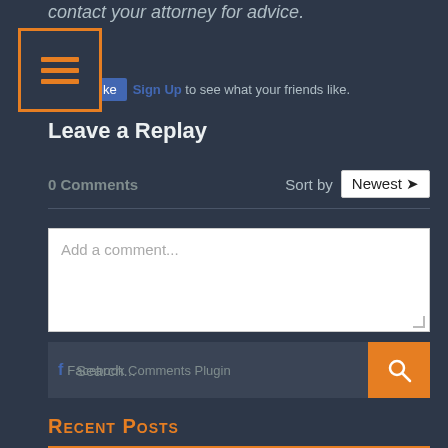contact your attorney for advice.
[Figure (screenshot): Hamburger menu icon in orange border box]
Like  Sign Up to see what your friends like.
Leave a Replay
0 Comments  Sort by  Newest
[Figure (screenshot): Comment text area with Add a comment... placeholder]
f Facebook Comments Plugin  Search...
Recent Posts